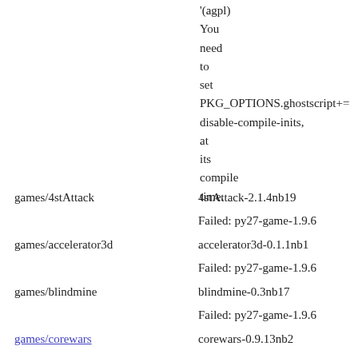'(agpl) You need to set PKG_OPTIONS.ghostscript+= disable-compile-inits, at its compile time.
games/4stAttack   4stAttack-2.1.4nb19
   Failed: py27-game-1.9.6
games/accelerator3d   accelerator3d-0.1.1nb1
   Failed: py27-game-1.9.6
games/blindmine   blindmine-0.3nb17
   Failed: py27-game-1.9.6
games/corewars   corewars-0.9.13nb2
games/crafty-book-medium   crafty-book-medium-